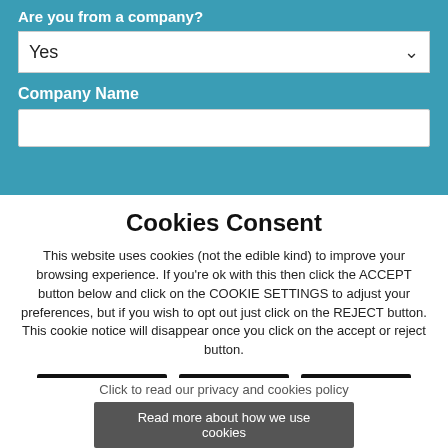Are you from a company?
Yes
Company Name
Cookies Consent
This website uses cookies (not the edible kind) to improve your browsing experience. If you're ok with this then click the ACCEPT button below and click on the COOKIE SETTINGS to adjust your preferences, but if you wish to opt out just click on the REJECT button. This cookie notice will disappear once you click on the accept or reject button.
Cookie settings
ACCEPT
Reject
Click to read our privacy and cookies policy
Read more about how we use cookies